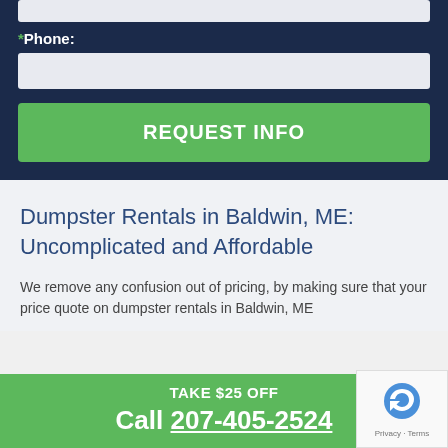*Phone:
REQUEST INFO
Dumpster Rentals in Baldwin, ME: Uncomplicated and Affordable
We remove any confusion out of pricing, by making sure that your price quote on dumpster rentals in Baldwin, ME
TAKE $25 OFF
Call 207-405-2524